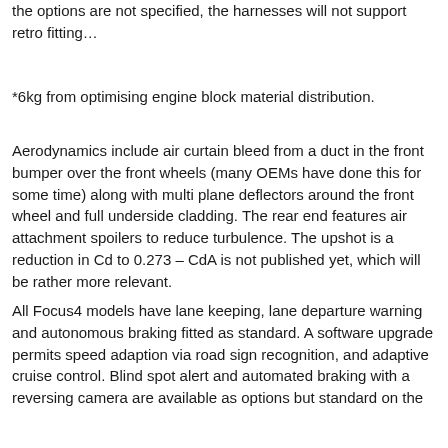the options are not specified, the harnesses will not support retro fitting…
*6kg from optimising engine block material distribution.
Aerodynamics include air curtain bleed from a duct in the front bumper over the front wheels (many OEMs have done this for some time) along with multi plane deflectors around the front wheel and full underside cladding. The rear end features air attachment spoilers to reduce turbulence. The upshot is a reduction in Cd to 0.273 – CdA is not published yet, which will be rather more relevant.
All Focus4 models have lane keeping, lane departure warning and autonomous braking fitted as standard. A software upgrade permits speed adaption via road sign recognition, and adaptive cruise control. Blind spot alert and automated braking with a reversing camera are available as options but standard on the